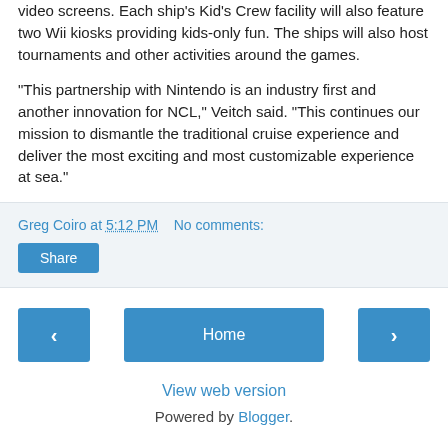video screens. Each ship's Kid's Crew facility will also feature two Wii kiosks providing kids-only fun. The ships will also host tournaments and other activities around the games.
"This partnership with Nintendo is an industry first and another innovation for NCL," Veitch said. "This continues our mission to dismantle the traditional cruise experience and deliver the most exciting and most customizable experience at sea."
Greg Coiro at 5:12 PM   No comments:
Share
‹  Home  ›
View web version
Powered by Blogger.